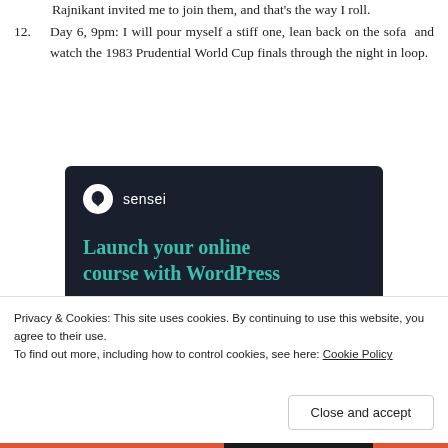Rajnikant invited me to join them, and that's the way I roll.
12. Day 6, 9pm: I will pour myself a stiff one, lean back on the sofa and watch the 1983 Prudential World Cup finals through the night in loop.
[Figure (other): Sensei advertisement banner with dark navy background. Shows Sensei logo (tree icon in white circle) and text 'Launch your online course with WordPress' in teal, with a teal 'Learn More' button.]
Privacy & Cookies: This site uses cookies. By continuing to use this website, you agree to their use.
To find out more, including how to control cookies, see here: Cookie Policy
Close and accept